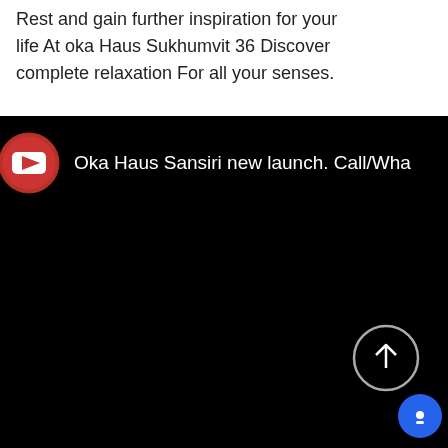Rest and gain further inspiration for your life At oka Haus Sukhumvit 36 Discover complete relaxation For all your senses.
[Figure (screenshot): YouTube video embed showing 'Oka Haus Sansiri new launch. Call/Wha...' with a black video area, YouTube logo/play button in the top-left, an up-arrow circle button in the lower right, and a blue chat bubble in the bottom-right corner.]